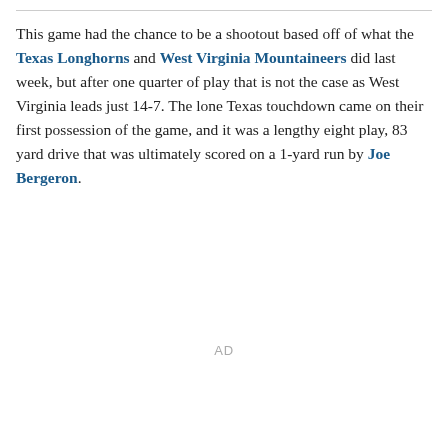This game had the chance to be a shootout based off of what the Texas Longhorns and West Virginia Mountaineers did last week, but after one quarter of play that is not the case as West Virginia leads just 14-7. The lone Texas touchdown came on their first possession of the game, and it was a lengthy eight play, 83 yard drive that was ultimately scored on a 1-yard run by Joe Bergeron.
AD